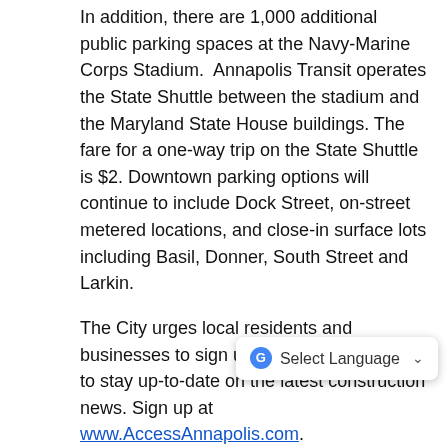In addition, there are 1,000 additional public parking spaces at the Navy-Marine Corps Stadium. Annapolis Transit operates the State Shuttle between the stadium and the Maryland State House buildings. The fare for a one-way trip on the State Shuttle is $2. Downtown parking options will continue to include Dock Street, on-street metered locations, and close-in surface lots including Basil, Donner, South Street and Larkin.
The City urges local residents and businesses to sign up for the e-newsletters to stay up-to-date on the latest construction news. Sign up at www.AccessAnnapolis.com.
“The process for reaching a consensus on the design and rebuild of Hillman has been a multi-year effort with hundreds of stakeholders, including residents, businesses and elected officials, having input through over the many public meetings,” said Jarrell. “Getting to the start of construction is a great achievement and I want to thank our involved